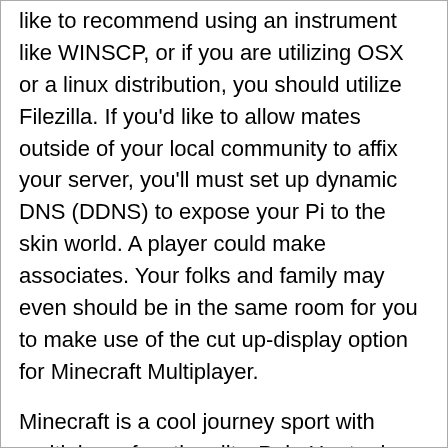like to recommend using an instrument like WINSCP, or if you are utilizing OSX or a linux distribution, you should utilize Filezilla. If you'd like to allow mates outside of your local community to affix your server, you'll must set up dynamic DNS (DDNS) to expose your Pi to the skin world. A player could make associates. Your folks and family may even should be in the same room for you to make use of the cut up-display option for Minecraft Multiplayer.
Minecraft is a cool journey sport with multiplayer functionality. PokeHunter is a cool function that leads you to capture Pokemon that the developers have created in-sport. We have now in-depth comparisons on our main web page right here. The sport in query here is none aside from Minecraft. Each stage of the sport brings new challenges, objectives and quirky power-ups, like a pie launcher, a cactus go well with, a snake automobile or a sizzling dog stand. Op look for services like aternos internet hosting. The entire internet hosting plans provided by Hostinger are backed by a 30-day money-again satisfaction assure. The recordsdata are within